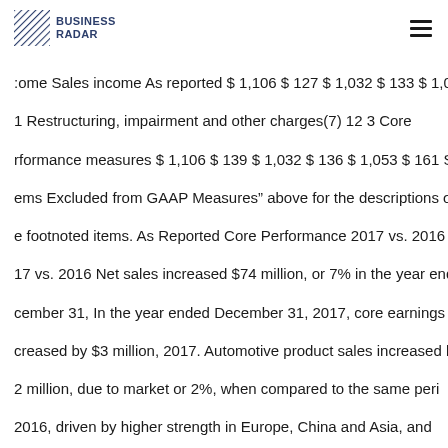BUSINESS RADAR
come Sales income As reported $ 1,106 $ 127 $ 1,032 $ 133 $ 1,053 1 Restructuring, impairment and other charges(7) 12 3 Core rformance measures $ 1,106 $ 139 $ 1,032 $ 136 $ 1,053 $ 161 See ems Excluded from GAAP Measures” above for the descriptions o e footnoted items. As Reported Core Performance 2017 vs. 2016 17 vs. 2016 Net sales increased $74 million, or 7% in the year ende cember 31, In the year ended December 31, 2017, core earnings creased by $3 million, 2017. Automotive product sales increased b 2 million, due to market or 2%, when compared to the same peri 2016, driven by higher strength in Europe, China and Asia, and tial commercial sales of gas volume in both automotive and diese oducts, offset by expenses particulate filters. Diesel product sales creased $32 million with higher in support of new product launche d a decline in manufacturing demand for heavy-duty diesel oducts in North America and Asia. efficiency due to the use of her-cost manufacturing facilities and sales of lower margin oducts. Net income in the year ended December 31, 2017.